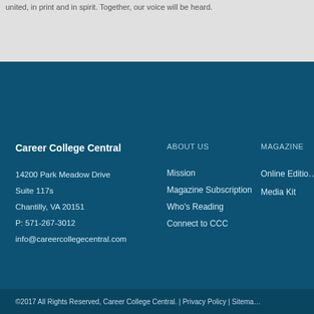united, in print and in spirit. Together, our voice will be heard.
Career College Central
14200 Park Meadow Drive
Suite 117s
Chantilly, VA 20151
P: 571-267-3012
info@careercollegecentral.com
ABOUT US
Mission
Magazine Subscription
Who's Reading
Connect to CCC
MAGAZINE
Online Edition
Media Kit
©2017 All Rights Reserved, Career College Central. | Privacy Policy | Sitema…